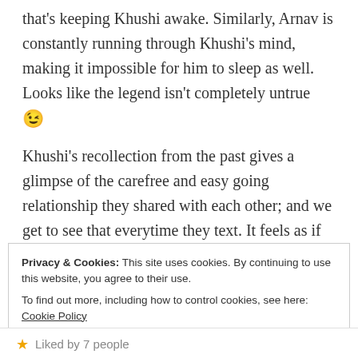that's keeping Khushi awake. Similarly, Arnav is constantly running through Khushi's mind, making it impossible for him to sleep as well. Looks like the legend isn't completely untrue 😉
Khushi's recollection from the past gives a glimpse of the carefree and easy going relationship they shared with each other; and we get to see that everytime they text. It feels as if all the years between them disappear.
Privacy & Cookies: This site uses cookies. By continuing to use this website, you agree to their use.
To find out more, including how to control cookies, see here: Cookie Policy
Close and accept
Liked by 7 people